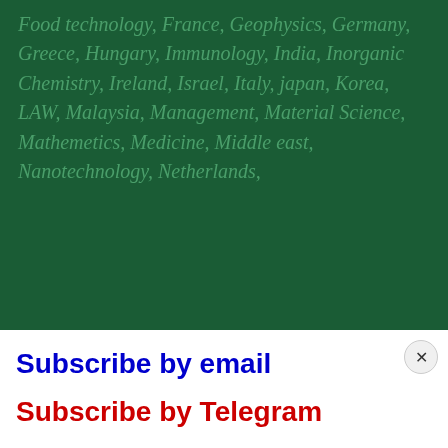Food technology, France, Geophysics, Germany, Greece, Hungary, Immunology, India, Inorganic Chemistry, Ireland, Israel, Italy, japan, Korea, LAW, Malaysia, Management, Material Science, Mathemetics, Medicine, Middle east, Nanotechnology, Netherlands,
[Figure (screenshot): Modal popup with Subscribe by email (blue), Subscribe by Telegram (red), and Follow @infodolpages Twitter button]
Serbia, Singapore, Soil Sciences, Spain, Subjects, Sustainability Science, Sweden, Switzerland, The Netherlands, Turkey, UK, USA, veterinary medicine
[Figure (infographic): Bottom share bar with Twitter, WhatsApp, LinkedIn, Blogger, Pinterest, Telegram, Facebook, and extra share buttons plus Share text]